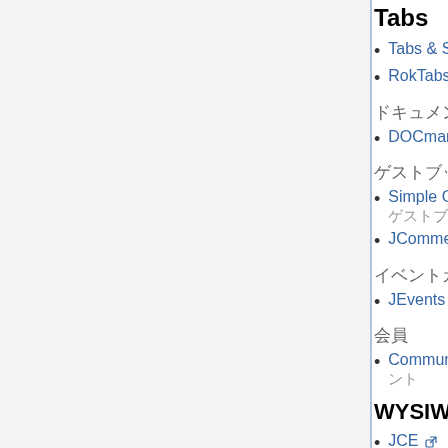Tabs
Tabs & Slides [external link]
RokTabs [external link]
ドキュメント管理
DOCman 1.5.x [external link]
ゲストブック
Simple Guest Book Component [external link] ゲストブックにUserがメッセージを残すことができます
JComments [external link] コメント管理コンポーネント
イベントカレンダー
JEvents [external link] イベントカレンダーコンポーネント
会員
Community Builder [external link] コミュニティビルダーコンポーネント
WYSIWYGエディタ
JCE [external link]